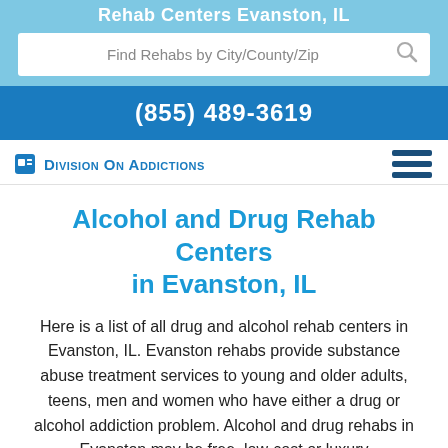Rehab Centers Evanston, IL
Find Rehabs by City/County/Zip
(855) 489-3619
Division On Addictions
Alcohol and Drug Rehab Centers in Evanston, IL
Here is a list of all drug and alcohol rehab centers in Evanston, IL. Evanston rehabs provide substance abuse treatment services to young and older adults, teens, men and women who have either a drug or alcohol addiction problem. Alcohol and drug rehabs in Evanston may be free, low-cost or luxury